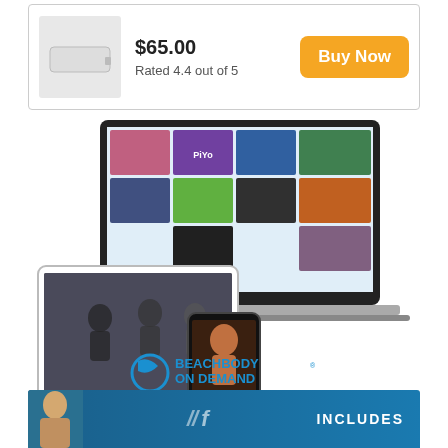$65.00
Rated 4.4 out of 5
Buy Now
[Figure (screenshot): Beachbody On Demand promotional image showing laptop, tablet, and phone displaying fitness workout videos including PiYo, Insanity, and other programs, with the Beachbody On Demand logo below]
[Figure (photo): Bottom banner with a person and text INCLUDES partially visible]